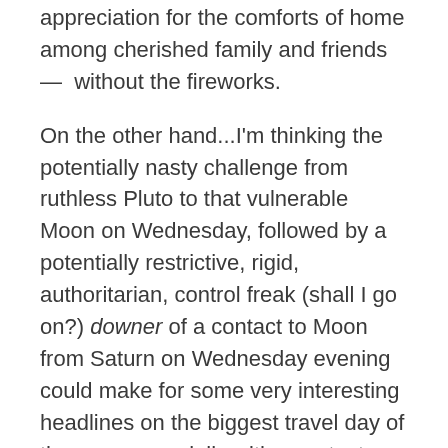appreciation for the comforts of home among cherished family and friends —  without the fireworks.
On the other hand...I'm thinking the potentially nasty challenge from ruthless Pluto to that vulnerable Moon on Wednesday, followed by a potentially restrictive, rigid, authoritarian, control freak (shall I go on?) downer of a contact to Moon from Saturn on Wednesday evening could make for some very interesting headlines on the biggest travel day of the year, especially with a protest allegedly planned against the new “security” measures implemented by the TSA. Whatever snags you may encounter in your travels on Wednesday (and you may not